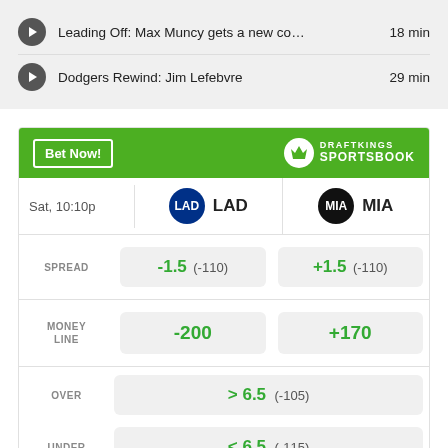Leading Off: Max Muncy gets a new co…  18 min
Dodgers Rewind: Jim Lefebvre  29 min
[Figure (infographic): DraftKings Sportsbook betting widget showing LAD vs MIA odds. Sat, 10:10p. Spread: -1.5 (-110) LAD, +1.5 (-110) MIA. Money Line: -200 LAD, +170 MIA. Over/Under: > 6.5 (-105), < 6.5 (-115).]
Odds/Lines subject to change. See draftkings.com for details.